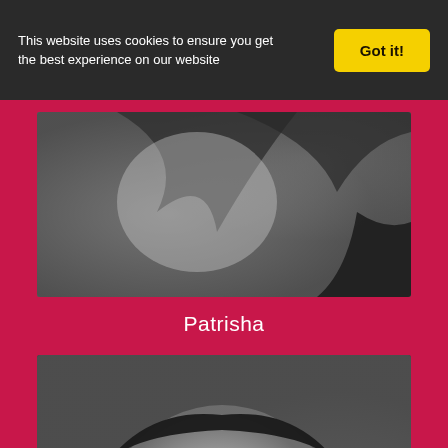This website uses cookies to ensure you get the best experience on our website
Got it!
[Figure (photo): Black and white photograph showing the top portion of a person with long dark hair, shoulder visible, cropped portrait]
Patrisha
[Figure (photo): Black and white portrait photo of a young woman with dark hair pulled back, smiling warmly at the camera, wearing earrings]